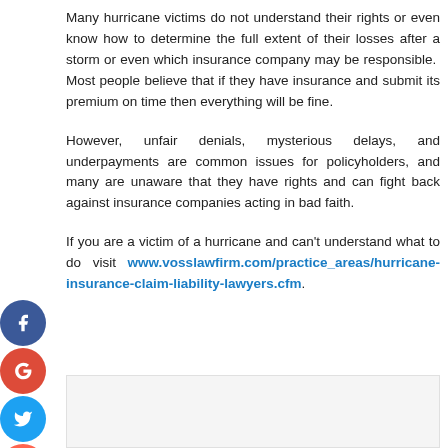Many hurricane victims do not understand their rights or even know how to determine the full extent of their losses after a storm or even which insurance company may be responsible.  Most people believe that if they have insurance and submit its premium on time then everything will be fine.
However, unfair denials, mysterious delays, and underpayments are common issues for policyholders, and many are unaware that they have rights and can fight back against insurance companies acting in bad faith.
If you are a victim of a hurricane and can't understand what to do visit www.vosslawfirm.com/practice_areas/hurricane-insurance-claim-liability-lawyers.cfm.
[Figure (other): Gray empty box placeholder at the bottom of the page]